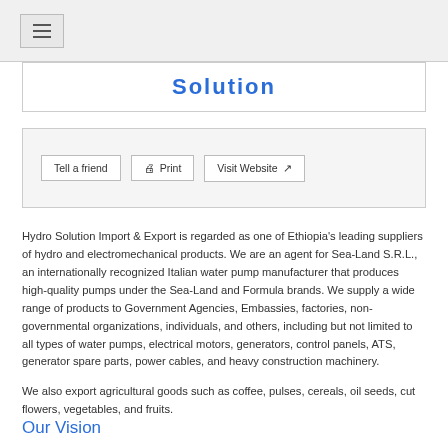☰
Solution
Tell a friend  Print  Visit Website
Hydro Solution Import & Export is regarded as one of Ethiopia's leading suppliers of hydro and electromechanical products. We are an agent for Sea-Land S.R.L., an internationally recognized Italian water pump manufacturer that produces high-quality pumps under the Sea-Land and Formula brands. We supply a wide range of products to Government Agencies, Embassies, factories, non-governmental organizations, individuals, and others, including but not limited to all types of water pumps, electrical motors, generators, control panels, ATS, generator spare parts, power cables, and heavy construction machinery.
We also export agricultural goods such as coffee, pulses, cereals, oil seeds, cut flowers, vegetables, and fruits.
Our Vision